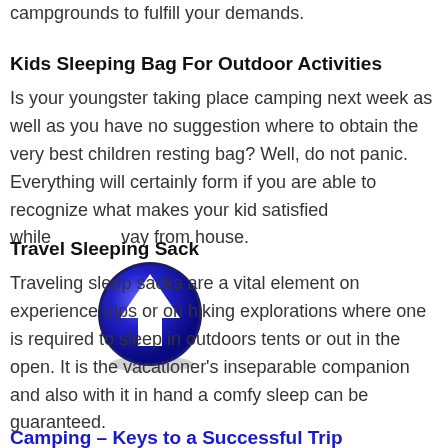campgrounds to fulfill your demands.
Kids Sleeping Bag For Outdoor Activities
Is your youngster taking place camping next week as well as you have no suggestion where to obtain the very best children resting bag? Well, do not panic. Everything will certainly form if you are able to recognize what makes your kid satisfied while away from house.
[Figure (illustration): A blue circular button/icon with a white upward arrow in the center, with a shadow effect.]
Travel Sleeping Sack
Traveling sleep sacks are a vital element on experience trips or on hiking explorations where one is required to sleep in outdoors tents or out in the open. It is the vacationer's inseparable companion and also with it in hand a comfy sleep can be guaranteed.
Camping – Keys to a Successful Trip